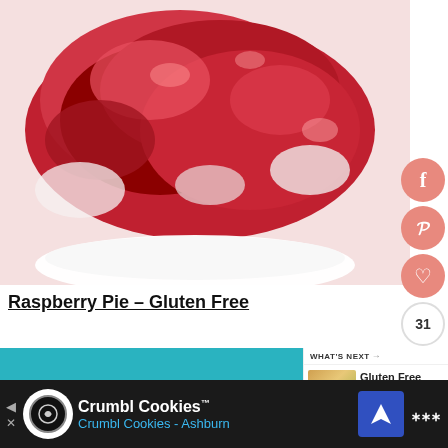[Figure (photo): Close-up photo of raspberry pie filling on a white plate, showing glistening red raspberry pieces with white cream/meringue, served on a round white plate. Social sharing buttons (Facebook, Pinterest, heart/like, share) visible on the right side.]
Raspberry Pie – Gluten Free
[Figure (infographic): Teal advertisement banner with white italic text reading "It's time to talk about Alzheimer's." with a 'WHAT'S NEXT' panel on the right showing a thumbnail of Gluten Free Strawberry... recipe.]
[Figure (screenshot): Bottom banner advertisement for Crumbl Cookies with dark background, Crumbl Cookies logo, text 'Crumbl Cookies™ Crumbl Cookies - Ashburn' and blue navigation icon. Arrow/back navigation on left side.]